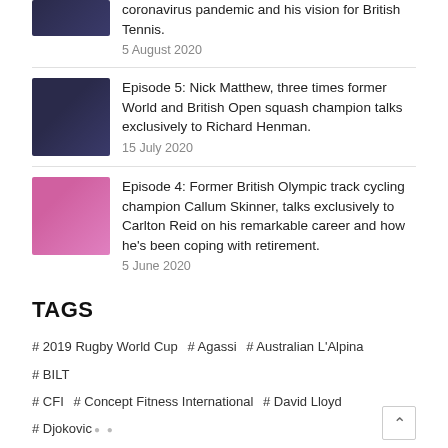coronavirus pandemic and his vision for British Tennis.
5 August 2020
Episode 5: Nick Matthew, three times former World and British Open squash champion talks exclusively to Richard Henman.
15 July 2020
Episode 4: Former British Olympic track cycling champion Callum Skinner, talks exclusively to Carlton Reid on his remarkable career and how he's been coping with retirement.
5 June 2020
TAGS
# 2019 Rugby World Cup  # Agassi  # Australian L'Alpina  # BILT  # CFI  # Concept Fitness International  # David Lloyd  # Djokovic  # gym  # Head  # Hemel Hempstead  # multi-sports resort  # Murray  # novak  # Portugal  # REBOwall  # ski  # Sloane